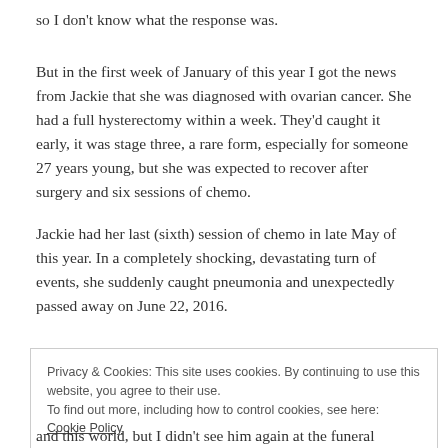so I don't know what the response was.
But in the first week of January of this year I got the news from Jackie that she was diagnosed with ovarian cancer. She had a full hysterectomy within a week. They'd caught it early, it was stage three, a rare form, especially for someone 27 years young, but she was expected to recover after surgery and six sessions of chemo.
Jackie had her last (sixth) session of chemo in late May of this year. In a completely shocking, devastating turn of events, she suddenly caught pneumonia and unexpectedly passed away on June 22, 2016.
Privacy & Cookies: This site uses cookies. By continuing to use this website, you agree to their use.
To find out more, including how to control cookies, see here: Cookie Policy
Close and accept
and this world, but I didn't see him again at the funeral